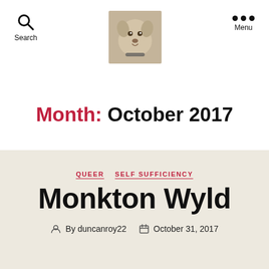Search   [logo image]   Menu
Month: October 2017
QUEER   SELF SUFFICIENCY
Monkton Wyld
By duncanroy22   October 31, 2017